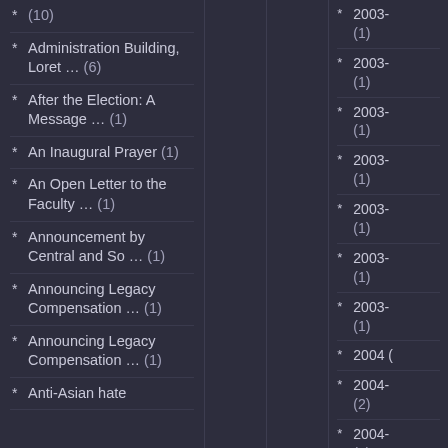(10)
Administration Building, Loret … (6)
After the Election: A Message … (1)
An Inaugural Prayer (1)
An Open Letter to the Faculty … (1)
Announcement by Central and So … (1)
Announcing Legacy Compensation … (1)
Announcing Legacy Compensation … (1)
Anti-Asian hate
2003- (1)
2003- (1)
2003- (1)
2003- (1)
2003- (1)
2003- (1)
2003- (1)
2004 (
2004- (2)
2004- (1)
2004-